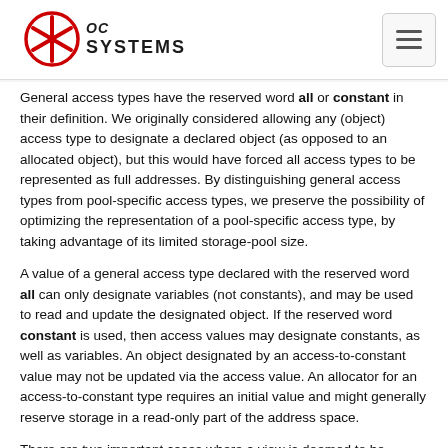OC SYSTEMS
General access types have the reserved word all or constant in their definition. We originally considered allowing any (object) access type to designate a declared object (as opposed to an allocated object), but this would have forced all access types to be represented as full addresses. By distinguishing general access types from pool-specific access types, we preserve the possibility of optimizing the representation of a pool-specific access type, by taking advantage of its limited storage-pool size.
A value of a general access type declared with the reserved word all can only designate variables (not constants), and may be used to read and update the designated object. If the reserved word constant is used, then access values may designate constants, as well as variables. An object designated by an access-to-constant value may not be updated via the access value. An allocator for an access-to-constant type requires an initial value and might generally reserve storage in a read-only part of the address space.
There are two important cases where a view is deemed to be aliased (and thus Access can be applied) even though the word aliased does not appear. One is that a parameter of a tagged type